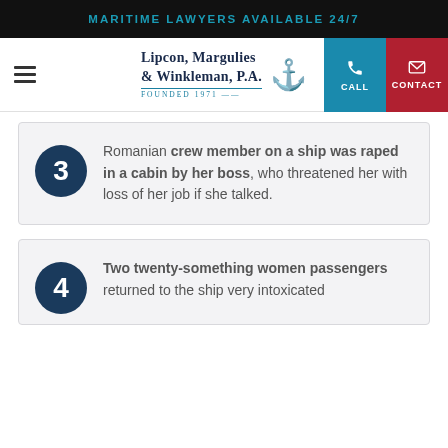MARITIME LAWYERS AVAILABLE 24/7
[Figure (logo): Lipcon, Margulies & Winkleman, P.A. law firm logo with anchor, Founded 1971, navigation bar with CALL and CONTACT buttons]
Romanian crew member on a ship was raped in a cabin by her boss, who threatened her with loss of her job if she talked.
Two twenty-something women passengers returned to the ship very intoxicated